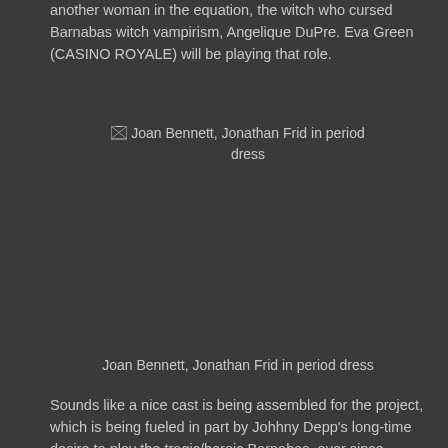another woman in the equation, the witch who cursed Barnabas witch vampirism, Angelique DuPre. Eva Green (CASINO ROYALE) will be playing that role.
[Figure (photo): Broken image placeholder showing 'Joan Bennett, Jonathan Frid in period dress']
Joan Bennett, Jonathan Frid in period dress
Sounds like a nice cast is being assembled for the project, which is being fueled in part by Johhny Depp's long-time desire to play the tragic/heroic Barnabas, ever since seeing Johnathan Frid's theatrical